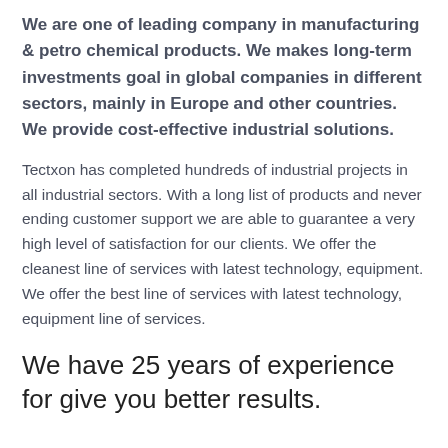We are one of leading company in manufacturing & petro chemical products. We makes long-term investments goal in global companies in different sectors, mainly in Europe and other countries. We provide cost-effective industrial solutions.
Tectxon has completed hundreds of industrial projects in all industrial sectors. With a long list of products and never ending customer support we are able to guarantee a very high level of satisfaction for our clients. We offer the cleanest line of services with latest technology, equipment. We offer the best line of services with latest technology, equipment line of services.
We have 25 years of experience for give you better results.